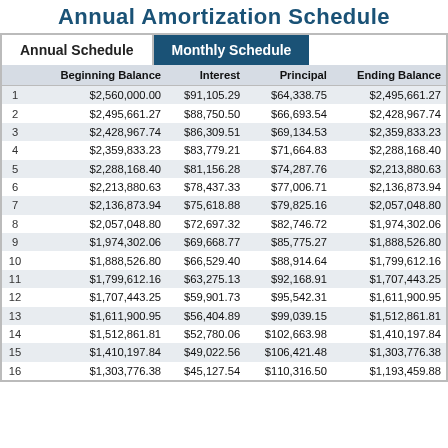Annual Amortization Schedule
|  | Beginning Balance | Interest | Principal | Ending Balance |
| --- | --- | --- | --- | --- |
| 1 | $2,560,000.00 | $91,105.29 | $64,338.75 | $2,495,661.27 |
| 2 | $2,495,661.27 | $88,750.50 | $66,693.54 | $2,428,967.74 |
| 3 | $2,428,967.74 | $86,309.51 | $69,134.53 | $2,359,833.23 |
| 4 | $2,359,833.23 | $83,779.21 | $71,664.83 | $2,288,168.40 |
| 5 | $2,288,168.40 | $81,156.28 | $74,287.76 | $2,213,880.63 |
| 6 | $2,213,880.63 | $78,437.33 | $77,006.71 | $2,136,873.94 |
| 7 | $2,136,873.94 | $75,618.88 | $79,825.16 | $2,057,048.80 |
| 8 | $2,057,048.80 | $72,697.32 | $82,746.72 | $1,974,302.06 |
| 9 | $1,974,302.06 | $69,668.77 | $85,775.27 | $1,888,526.80 |
| 10 | $1,888,526.80 | $66,529.40 | $88,914.64 | $1,799,612.16 |
| 11 | $1,799,612.16 | $63,275.13 | $92,168.91 | $1,707,443.25 |
| 12 | $1,707,443.25 | $59,901.73 | $95,542.31 | $1,611,900.95 |
| 13 | $1,611,900.95 | $56,404.89 | $99,039.15 | $1,512,861.81 |
| 14 | $1,512,861.81 | $52,780.06 | $102,663.98 | $1,410,197.84 |
| 15 | $1,410,197.84 | $49,022.56 | $106,421.48 | $1,303,776.38 |
| 16 | $1,303,776.38 | $45,127.54 | $110,316.50 | $1,193,459.88 |